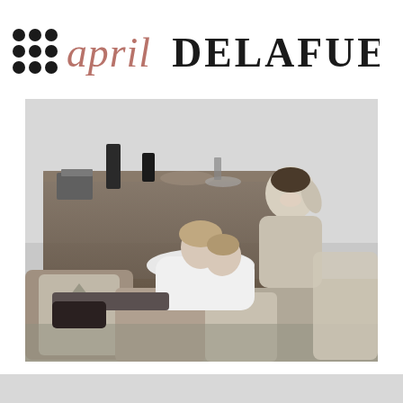[Figure (logo): Brand logo with dot grid icon on the left, cursive 'april' in rose/mauve color, and bold distressed block letters 'DELAFUENTE' in dark gray/black]
[Figure (photo): Black and white photo of a couple relaxing together on cushions and pillows on the floor. A man in a suit jacket sits smiling while a woman in a white dress reclines with her head back laughing. A low wooden table with candles and table settings is visible in the background.]
[Figure (other): Light gray rectangular bar at the bottom of the page]